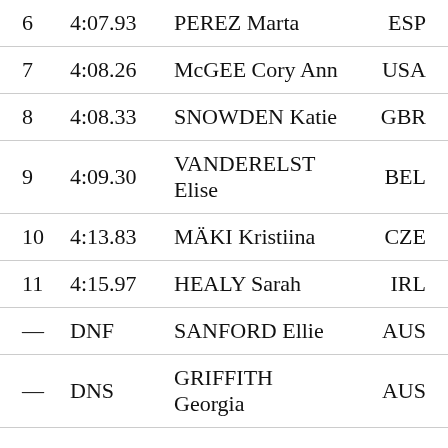| Rank | Time | Name | Country |
| --- | --- | --- | --- |
| 6 | 4:07.93 | PEREZ Marta | ESP |
| 7 | 4:08.26 | McGEE Cory Ann | USA |
| 8 | 4:08.33 | SNOWDEN Katie | GBR |
| 9 | 4:09.30 | VANDERELST Elise | BEL |
| 10 | 4:13.83 | MÄKI Kristiina | CZE |
| 11 | 4:15.97 | HEALY Sarah | IRL |
| — | DNF | SANFORD Ellie | AUS |
| — | DNS | GRIFFITH Georgia | AUS |